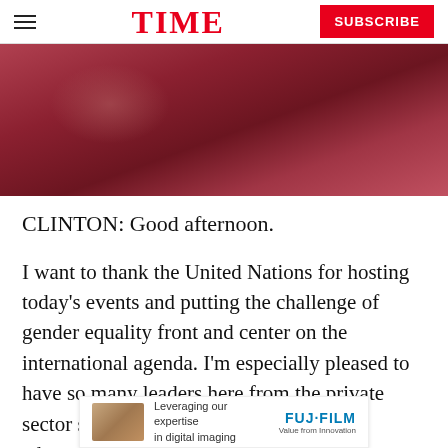TIME — SUBSCRIBE
[Figure (photo): Blurred dark red/maroon background photo, appears to be a person or event scene, abstract blurred tones of deep red and burgundy]
CLINTON: Good afternoon.
I want to thank the United Nations for hosting today's events and putting the challenge of gender equality front and center on the international agenda. I'm especially pleased to have so many leaders here from the private sector standing shoulder to shoulder with advocates who have worked…
[Figure (other): Advertisement banner: 'Leveraging our expertise in digital imaging' — FUJIFILM, Value from Innovation]